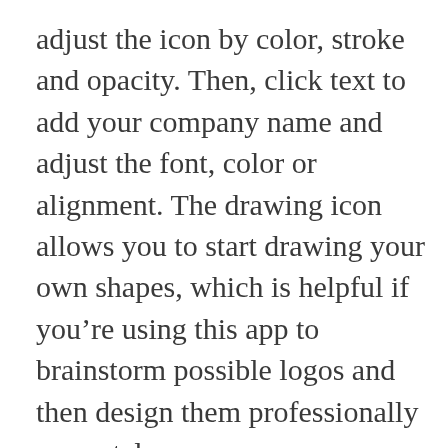adjust the icon by color, stroke and opacity. Then, click text to add your company name and adjust the font, color or alignment. The drawing icon allows you to start drawing your own shapes, which is helpful if you're using this app to brainstorm possible logos and then design them professionally separately.